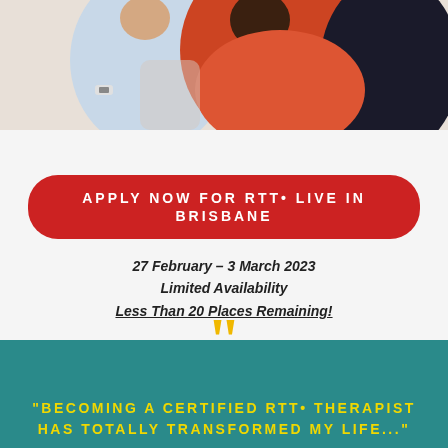[Figure (photo): Two people sitting together, one wearing a light blue shirt and watch, the other wearing an orange/red dress]
APPLY NOW FOR RTT• LIVE IN BRISBANE
27 February – 3 March 2023
Limited Availability
Less Than 20 Places Remaining!
"BECOMING A CERTIFIED RTT• THERAPIST HAS TOTALLY TRANSFORMED MY LIFE..."